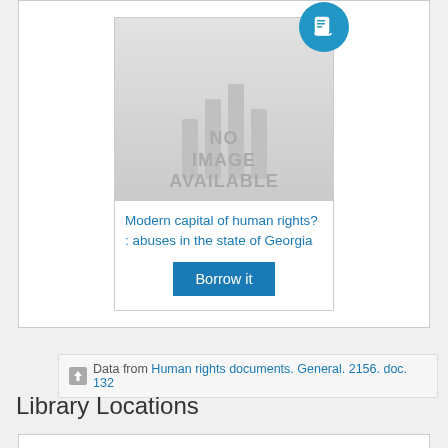[Figure (illustration): Book listing card showing 'NO IMAGE AVAILABLE' placeholder with a blue book badge icon, title 'Modern capital of human rights? : abuses in the state of Georgia', and a 'Borrow it' button.]
Data from Human rights documents. General. 2156. doc. 132
Library Locations